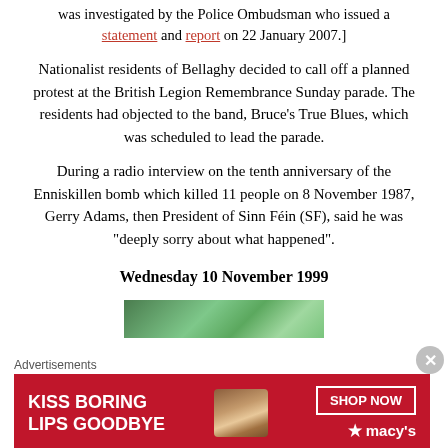was investigated by the Police Ombudsman who issued a statement and report on 22 January 2007.]
Nationalist residents of Bellaghy decided to call off a planned protest at the British Legion Remembrance Sunday parade. The residents had objected to the band, Bruce’s True Blues, which was scheduled to lead the parade.
During a radio interview on the tenth anniversary of the Enniskillen bomb which killed 11 people on 8 November 1987, Gerry Adams, then President of Sinn Féin (SF), said he was “deeply sorry about what happened”.
Wednesday 10 November 1999
[Figure (photo): Partial image strip showing a green/teal background, appears to be a photograph cropped at the bottom of the content area.]
Advertisements
[Figure (illustration): Macy's advertisement banner: KISS BORING LIPS GOODBYE with SHOP NOW button and Macy's star logo, red background with a woman's face.]